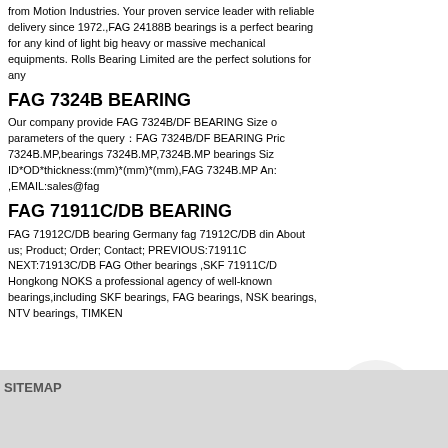from Motion Industries. Your proven service leader with reliable delivery since 1972.,FAG 24188B bearings is a perfect bearing for any kind of light big heavy or massive mechanical equipments. Rolls Bearing Limited are the perfect solutions for any
FAG 7324B BEARING
Our company provide FAG 7324B/DF BEARING Size and parameters of the query�FAG 7324B/DF BEARING Price 7324B.MP,bearings 7324B.MP,7324B.MP bearings Size ID*OD*thickness:(mm)*(mm)*(mm),FAG 7324B.MP An: ,EMAIL:sales@fag
[Figure (photo): Woman wearing headset and blazer, smiling, with circular cropped photo]
FAG 71911C/DB BEARING
FAG 71912C/DB bearing Germany fag 71912C/DB dim About us; Product; Order; Contact; PREVIOUS:71911C NEXT:71913C/DB FAG Other bearings ,SKF 71911C/D Hongkong NOKS a professional agency of well-known bearings,including SKF bearings, FAG bearings, NSK bearings, NTN bearings, TIMKEN
[Figure (other): Online button - cyan/blue rectangle with white text 'online']
SITEMAP